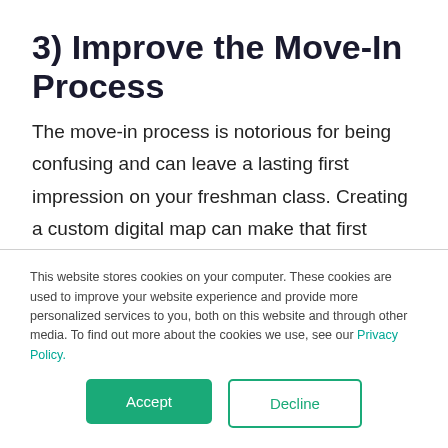3) Improve the Move-In Process
The move-in process is notorious for being confusing and can leave a lasting first impression on your freshman class. Creating a custom digital map can make that first impression a good one. 88.5% of freshmen found move-in information on the campus map
This website stores cookies on your computer. These cookies are used to improve your website experience and provide more personalized services to you, both on this website and through other media. To find out more about the cookies we use, see our Privacy Policy.
Accept
Decline